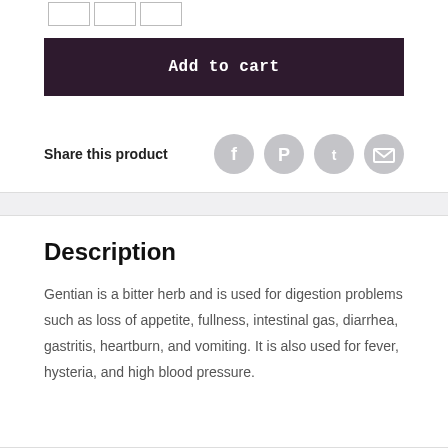[Figure (other): Quantity selector boxes at top of page]
Add to cart
Share this product
[Figure (other): Social sharing icons: Facebook, Pinterest, Twitter, Email]
Description
Gentian is a bitter herb and is used for digestion problems such as loss of appetite, fullness, intestinal gas, diarrhea, gastritis, heartburn, and vomiting. It is also used for fever, hysteria, and high blood pressure.